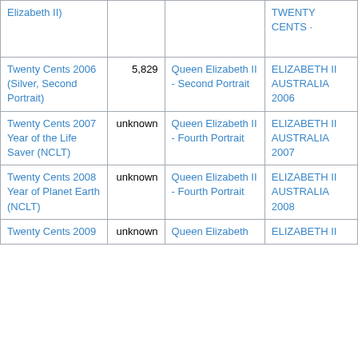| Elizabeth II) |  | TWENTY CENTS · |
| Twenty Cents 2006 (Silver, Second Portrait) | 5,829 | Queen Elizabeth II - Second Portrait | ELIZABETH II AUSTRALIA 2006 |
| Twenty Cents 2007 Year of the Life Saver (NCLT) | unknown | Queen Elizabeth II - Fourth Portrait | ELIZABETH II AUSTRALIA 2007 |
| Twenty Cents 2008 Year of Planet Earth (NCLT) | unknown | Queen Elizabeth II - Fourth Portrait | ELIZABETH II AUSTRALIA 2008 |
| Twenty Cents 2009 | unknown | Queen Elizabeth | ELIZABETH II |